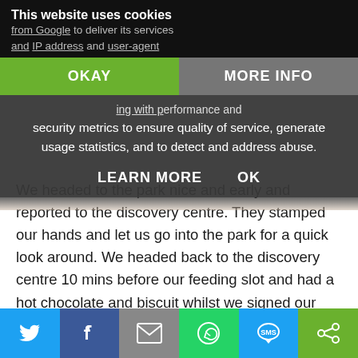[Figure (screenshot): Cookie consent overlay on a website with OKAY and MORE INFO buttons, and LEARN MORE and OK text actions. Dark semi-transparent background with white text about cookies from Google.]
We headed to the park nice and early and reported to the discovery centre. They stamped our hands and let us go into the park for a quick look around. We headed back to the discovery centre 10 mins before our feeding slot and had a hot chocolate and biscuit whilst we signed our waiver.
We then met Ian who was our guide for the experience. I was expecting to be told which big cats we were feeding, but he advised we could choose. Obviously our chosen cat may not be in the mood and if so we would then need to move to
[Figure (screenshot): Social share bar at bottom with Twitter, Facebook, Email, WhatsApp, SMS, and other share icons]